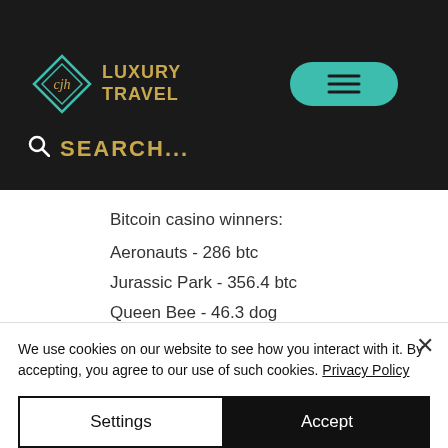[Figure (screenshot): CJH Luxury Travel website navigation bar with teal/dark background, logo with diamond SVG and gold 'LUXURY TRAVEL' text, teal hamburger menu button, and gold search bar]
Bitcoin casino winners:
Aeronauts - 286 btc
Jurassic Park - 356.4 btc
Queen Bee - 46.3 dog
Secrets of the Amazon - 548.3 bch
Rock On - 742.1 dog
We use cookies on our website to see how you interact with it. By accepting, you agree to our use of such cookies. Privacy Policy
Settings | Accept